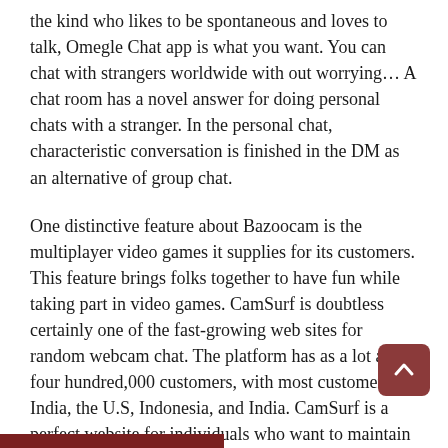the kind who likes to be spontaneous and loves to talk, Omegle Chat app is what you want. You can chat with strangers worldwide with out worrying… A chat room has a novel answer for doing personal chats with a stranger. In the personal chat, characteristic conversation is finished in the DM as an alternative of group chat.
One distinctive feature about Bazoocam is the multiplayer video games it supplies for its customers. This feature brings folks together to have fun while taking part in video games. CamSurf is doubtless certainly one of the fast-growing web sites for random webcam chat. The platform has as a lot as four hundred,000 customers, with most customers in India, the U.S, Indonesia, and India. CamSurf is a perfect website for individuals who want to maintain their particulars personal. The platform can function a wonderful various choice to Omegle. It has a similar interface as Ome.tv and Chatrandom.
So these were a few of the Random video chat web sites. All these sites present nameless video call options so you must use that as nicely. Now go ahead and verify these websites out and see which one is working one of the best for you. This one is also one of the